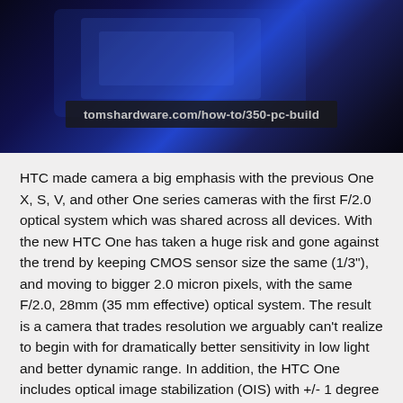[Figure (photo): A dark blue-toned photo of PC hardware/build components with a semi-transparent overlay bar showing the URL 'tomshardware.com/how-to/350-pc-build']
HTC made camera a big emphasis with the previous One X, S, V, and other One series cameras with the first F/2.0 optical system which was shared across all devices. With the new HTC One has taken a huge risk and gone against the trend by keeping CMOS sensor size the same (1/3"), and moving to bigger 2.0 micron pixels, with the same F/2.0, 28mm (35 mm effective) optical system. The result is a camera that trades resolution we arguably can't realize to begin with for dramatically better sensitivity in low light and better dynamic range. In addition, the HTC One includes optical image stabilization (OIS) with +/- 1 degree of accommodation in pitch and yaw to enable even longer exposures without hand shake, as well as for stable video. On the video side, the HTC One also includes HDR video capture at 720p30, normal dynamic range video at 720p60 or 1080p30, and this time video is encoded using the full capabilities of the SoC (high profile, 20 Mbps).